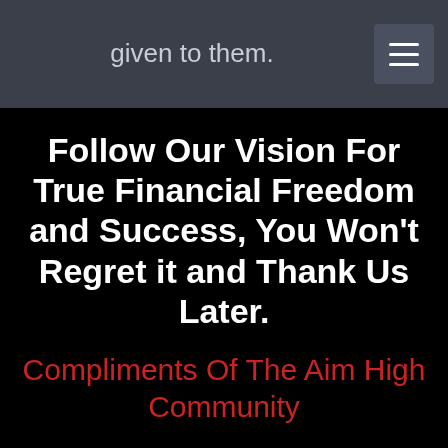given to them.
Follow Our Vision For True Financial Freedom and Success, You Won't Regret it and Thank Us Later.
Compliments Of The Aim High Community